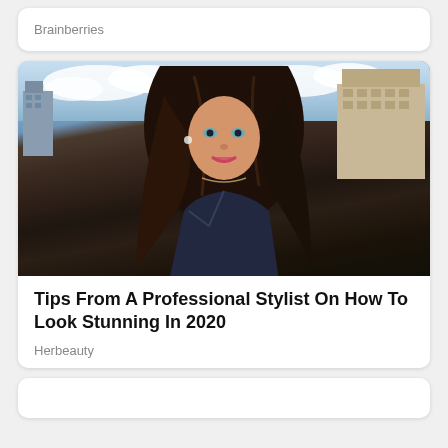Brainberries
[Figure (photo): Young woman with long dark flowing hair, blue eyes, wearing a dark navy wrap top, standing outdoors with city buildings and cloudy sky in background]
Tips From A Professional Stylist On How To Look Stunning In 2020
Herbeauty